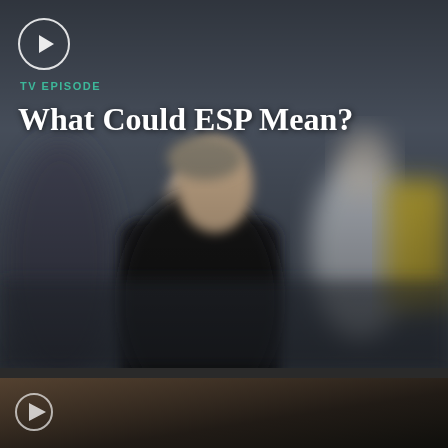[Figure (photo): A blurred outdoor scene showing a man in profile wearing a dark jacket, with blurred figures in the background including someone in white and someone in yellow]
TV EPISODE
What Could ESP Mean?
[Figure (photo): Bottom partial card showing another TV episode thumbnail with dark brownish tones]